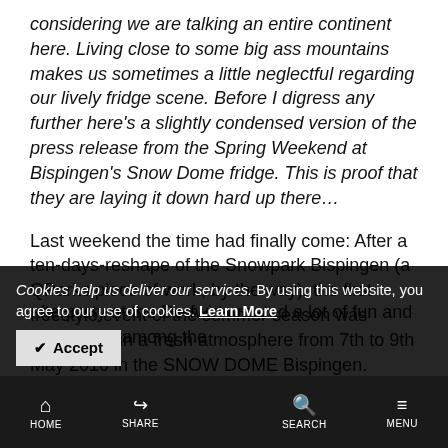considering we are talking an entire continent here. Living close to some big ass mountains makes us sometimes a little neglectful regarding our lively fridge scene. Before I digress any further here's a slightly condensed version of the press release from the Spring Weekend at Bispingen's Snow Dome fridge. This is proof that they are laying it down hard up there…
Last weekend the time had finally come: After a ten-days-reshape of the Snowpark Bispingen (a QParks piece of work, by the way), the first freestyle event of the summer season was celebrated in a fresh atmosphere from 7th to 9th May 2010 in the SNOW DOME Bispingen. Besides a thrilling snowboard contest and the pro coaching also the afterparty at the Dorfwirt created a lot of fun and good vibes among the [participants]
Cookies help us deliver our services. By using this website, you agree to our use of cookies. Learn More
HOME  SHARE  SEARCH  MENU